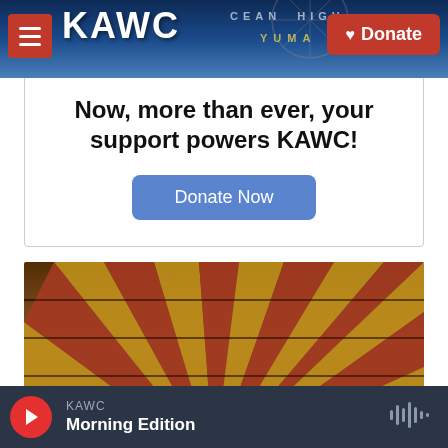KAWC | Donate
Now, more than ever, your support powers KAWC!
Donate Now
[Figure (photo): Arizona state flag painted on weathered wooden boards — red and yellow sunburst rays on wood grain texture]
KAWC | Morning Edition